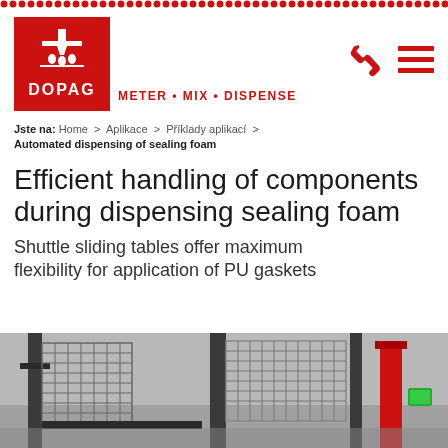DOPAG — METER • MIX • DISPENSE
Jste na: Home > Aplikace > Příklady aplikací >
Automated dispensing of sealing foam
Efficient handling of components during dispensing sealing foam
Shuttle sliding tables offer maximum flexibility for application of PU gaskets
[Figure (photo): Industrial manufacturing facility showing automated dispensing equipment with metal grating structures and red machinery components]